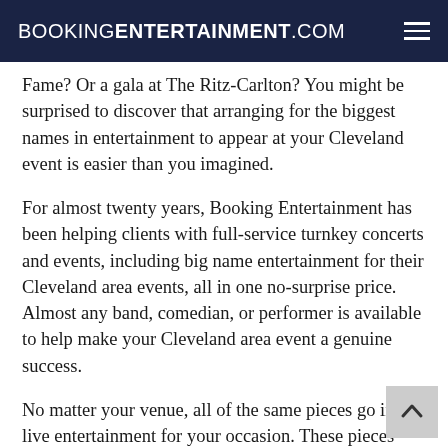BOOKINGENTERTAINMENT.COM
Fame? Or a gala at The Ritz-Carlton? You might be surprised to discover that arranging for the biggest names in entertainment to appear at your Cleveland event is easier than you imagined.
For almost twenty years, Booking Entertainment has been helping clients with full-service turnkey concerts and events, including big name entertainment for their Cleveland area events, all in one no-surprise price. Almost any band, comedian, or performer is available to help make your Cleveland area event a genuine success.
No matter your venue, all of the same pieces go in to live entertainment for your occasion. These pieces include flights, ground transportation, hotel accommodations, staging, backline equipment, lights, sound, per diems, misc.